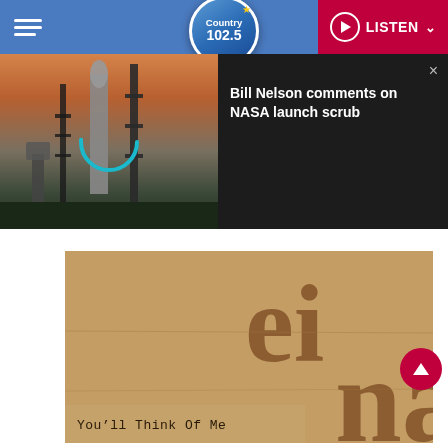Country 102.5 | LISTEN
[Figure (screenshot): Video popup showing NASA rocket launch pad at dusk with loading spinner overlay, and info panel: 'Bill Nelson comments on NASA launch scrub' with close button]
[Figure (photo): Album art with tan/brown textured background showing large decorative text letters and the caption 'You'll Think Of Me' in monospace font]